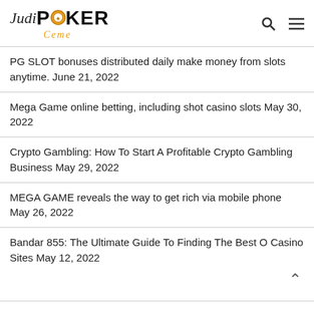JudiPOKER Ceme
PG SLOT bonuses distributed daily make money from slots anytime. June 21, 2022
Mega Game online betting, including shot casino slots May 30, 2022
Crypto Gambling: How To Start A Profitable Crypto Gambling Business May 29, 2022
MEGA GAME reveals the way to get rich via mobile phone May 26, 2022
Bandar 855: The Ultimate Guide To Finding The Best Online Casino Sites May 12, 2022